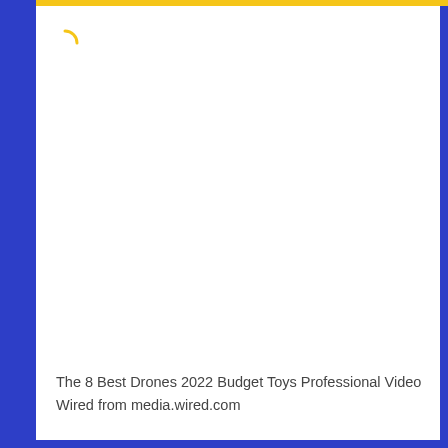[Figure (screenshot): A loading/error state of a webpage with a blue sidebar border on the left and right, a yellow bar at the top, and a white content area showing a loading spinner icon in the top-left corner of the white area.]
The 8 Best Drones 2022 Budget Toys Professional Video Wired from media.wired.com